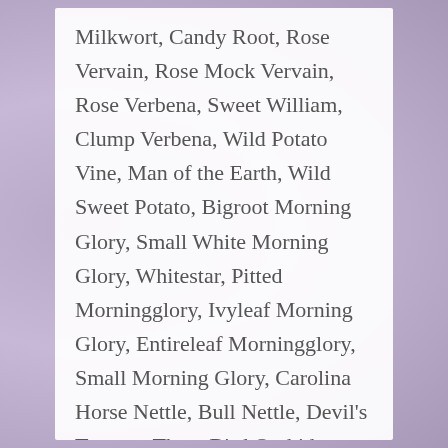Milkwort, Candy Root, Rose Vervain, Rose Mock Vervain, Rose Verbena, Sweet William, Clump Verbena, Wild Potato Vine, Man of the Earth, Wild Sweet Potato, Bigroot Morning Glory, Small White Morning Glory, Whitestar, Pitted Morningglory, Ivyleaf Morning Glory, Entireleaf Morningglory, Small Morning Glory, Carolina Horse Nettle, Bull Nettle, Devil's Tomato, Three Bird Orchid, Threebirds, Nodding Pogonia, Nodding Ettercap, Nodding Wild Onion, Nodding Onion, Allegheny Onion, Partridgeberry, Partridge Berry, Sqaw Vine, Eyeberry, Pearly Everlasting, Western Pearly Everlasting, Small Periwinkle, Common Periwinkle, Dwarf